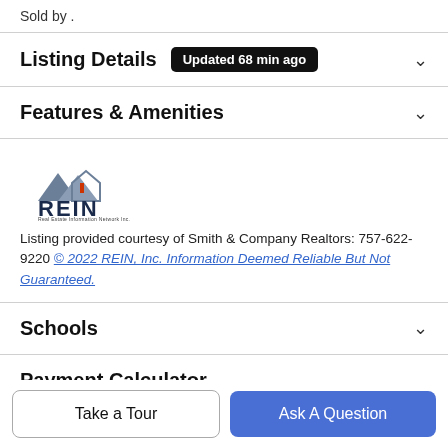Sold by .
Listing Details  Updated 68 min ago
Features & Amenities
[Figure (logo): REIN Real Estate Information Network logo with mountain/house graphic]
Listing provided courtesy of Smith & Company Realtors: 757-622-9220 © 2022 REIN, Inc. Information Deemed Reliable But Not Guaranteed.
Schools
Payment Calculator
Take a Tour
Ask A Question